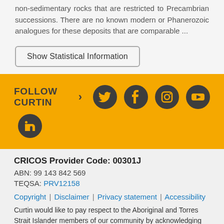non-sedimentary rocks that are restricted to Precambrian successions. There are no known modern or Phanerozoic analogues for these deposits that are comparable ...
Show Statistical Information
[Figure (other): FOLLOW CURTIN social media icons bar with Twitter, Facebook, Instagram, YouTube, and LinkedIn icons on yellow background]
CRICOS Provider Code: 00301J
ABN: 99 143 842 569
TEQSA: PRV12158
Copyright | Disclaimer | Privacy statement | Accessibility
Curtin would like to pay respect to the Aboriginal and Torres Strait Islander members of our community by acknowledging the